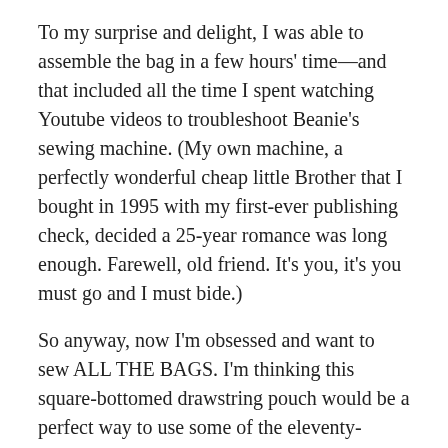To my surprise and delight, I was able to assemble the bag in a few hours' time—and that included all the time I spent watching Youtube videos to troubleshoot Beanie's sewing machine. (My own machine, a perfectly wonderful cheap little Brother that I bought in 1995 with my first-ever publishing check, decided a 25-year romance was long enough. Farewell, old friend. It's you, it's you must go and I must bide.)
So anyway, now I'm obsessed and want to sew ALL THE BAGS. I'm thinking this square-bottomed drawstring pouch would be a perfect way to use some of the eleventy-million pieces of embroidery I've amassed these past few years. I might even see if I can add a pocket or two.
But first I think I'll work through this Seam Finishing 101 class at Creativebug. (That's an affiliate link because I remain as wildly enthusiastic about Creativebug as ever